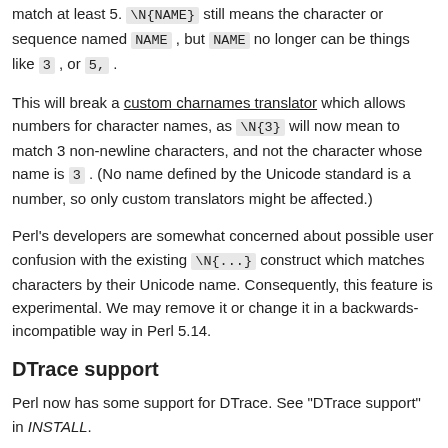match at least 5. \N{NAME} still means the character or sequence named NAME , but NAME no longer can be things like 3 , or 5, .
This will break a custom charnames translator which allows numbers for character names, as \N{3} will now mean to match 3 non-newline characters, and not the character whose name is 3 . (No name defined by the Unicode standard is a number, so only custom translators might be affected.)
Perl's developers are somewhat concerned about possible user confusion with the existing \N{...} construct which matches characters by their Unicode name. Consequently, this feature is experimental. We may remove it or change it in a backwards-incompatible way in Perl 5.14.
DTrace support
Perl now has some support for DTrace. See "DTrace support" in INSTALL.